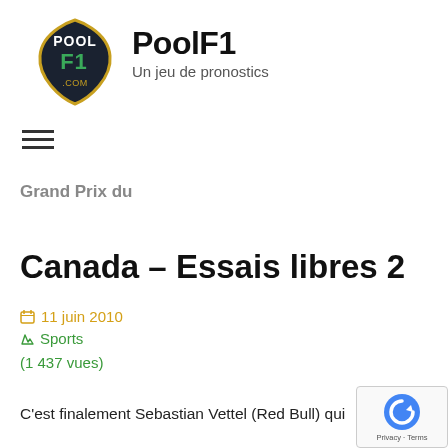[Figure (logo): PoolF1 logo — dark shield shape with POOL F1 .COM text in white/yellow/green]
PoolF1
Un jeu de pronostics
[Figure (other): Hamburger menu icon (three horizontal bars)]
Grand Prix du
Canada – Essais libres 2
11 juin 2010
Sports
(1 437 vues)
C'est finalement Sebastian Vettel (Red Bull) qui